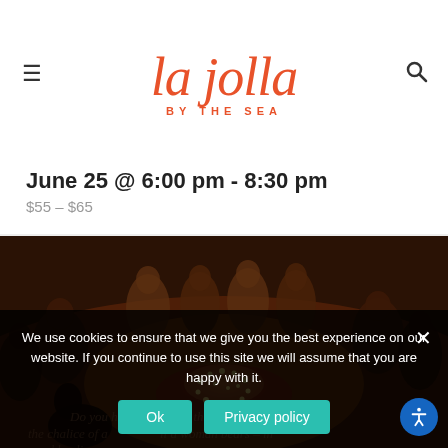La Jolla By The Sea — navigation header with hamburger menu and search icon
June 25 @ 6:00 pm - 8:30 pm
$55 – $65
[Figure (photo): Circular gathering of people around a glowing candle-lit centerpiece on a red cloth, warm amber lighting, spiritual/healing ceremony setting]
We use cookies to ensure that we give you the best experience on our website. If you continue to use this site we will assume that you are happy with it.